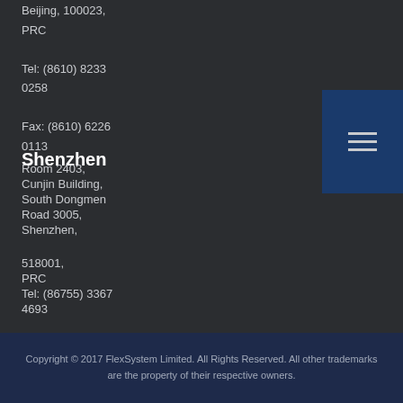Beijing, 100023, PRC
Tel: (8610) 8233 0258
Fax: (8610) 6226 0113
Shenzhen
Room 2403, Cunjin Building, South Dongmen Road 3005, Shenzhen, 518001, PRC
Tel: (86755) 3367 4693
Copyright © 2017 FlexSystem Limited. All Rights Reserved. All other trademarks are the property of their respective owners.